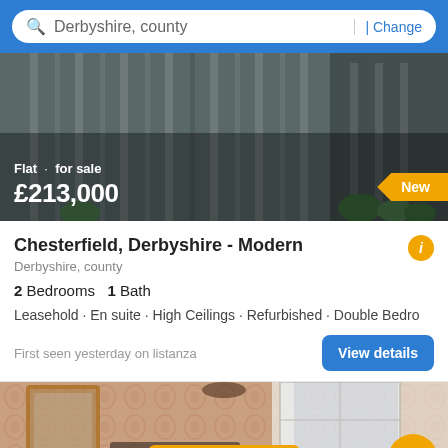Derbyshire, county | Change
[Figure (photo): Exterior photo of a modern building/flat with vertical architectural elements, dark facade, shown from below. Overlay text: Flat · for sale, £213,000. New badge in orange.]
Chesterfield, Derbyshire - Modern
Derbyshire, county
2 Bedrooms  1 Bath
Leasehold · En suite · High Ceilings · Refurbished · Double Bedro
First seen yesterday on listanza
View details
[Figure (photo): Interior photo of a living room with patterned wallpaper, a mirror in a wooden frame, dark furniture, and a window with white curtains. Filter button and 15 pictures badge visible.]